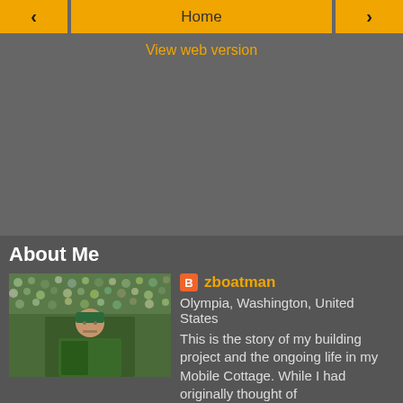< Home >
View web version
About Me
[Figure (photo): Profile photo of a man at a football stadium wearing green and yellow team colors]
zboatman
Olympia, Washington, United States
This is the story of my building project and the ongoing life in my Mobile Cottage. While I had originally thought of